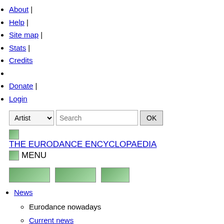About |
Help |
Site map |
Stats |
Credits
Donate |
Login
Artist [dropdown] Search [input] OK [button]
[Figure (illustration): Small green image placeholder for site logo]
THE EURODANCE ENCYCLOPAEDIA
MENU
[Figure (photo): Three artist thumbnail images: Thornton_melar, Shekoni_kayo, E-type]
News
Eurodance nowadays
Current news
Twitter
10 top eurodance news for 2012
News history
Year 2022